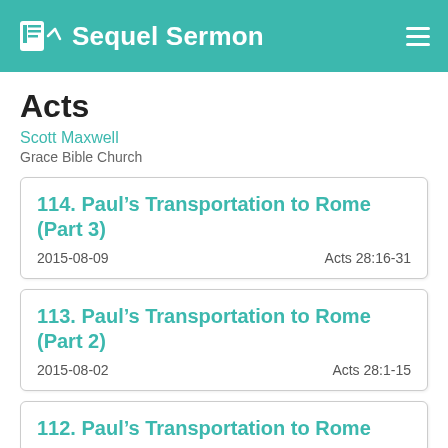Sequel Sermon
Acts
Scott Maxwell
Grace Bible Church
114. Paul's Transportation to Rome (Part 3)
2015-08-09	Acts 28:16-31
113. Paul's Transportation to Rome (Part 2)
2015-08-02	Acts 28:1-15
112. Paul's Transportation to Rome